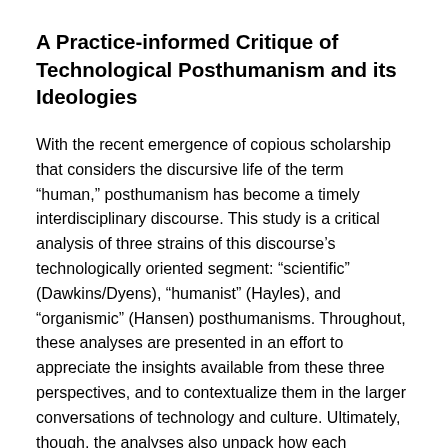A Practice-informed Critique of Technological Posthumanism and its Ideologies
With the recent emergence of copious scholarship that considers the discursive life of the term “human,” posthumanism has become a timely interdisciplinary discourse. This study is a critical analysis of three strains of this discourse’s technologically oriented segment: “scientific” (Dawkins/Dyens), “humanist” (Hayles), and “organismic” (Hansen) posthumanisms. Throughout, these analyses are presented in an effort to appreciate the insights available from these three perspectives, and to contextualize them in the larger conversations of technology and culture. Ultimately, though, the analyses also unpack how each perspective continues to hold onto certain elements of the humanist tradition that it is mobilized against; in each case, the study desablimates